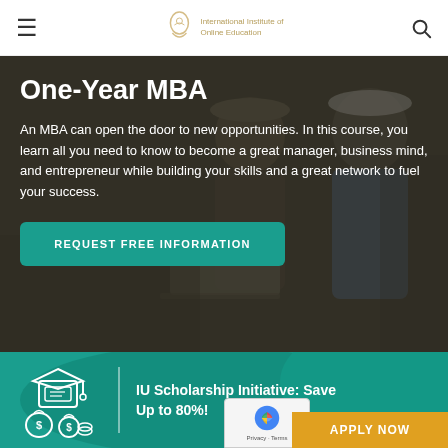Navigation bar with hamburger menu, institution logo, and search icon
One-Year MBA
An MBA can open the door to new opportunities. In this course, you learn all you need to know to become a great manager, business mind, and entrepreneur while building your skills and a great network to fuel your success.
REQUEST FREE INFORMATION
[Figure (illustration): Scholarship icon: graduation cap with diploma/scroll and money bags with dollar signs]
IU Scholarship Initiative: Save Up to 80%!
APPLY NOW